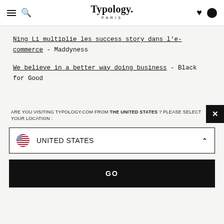Typology. PARIS
Ning Li multiplie les success story dans l'e-commerce - Maddyness
We believe in a better way doing business - Black for Good
ARE YOU VISITING TYPOLOGY.COM FROM THE UNITED STATES ? PLEASE SELECT YOUR LOCATION :
UNITED STATES
GO